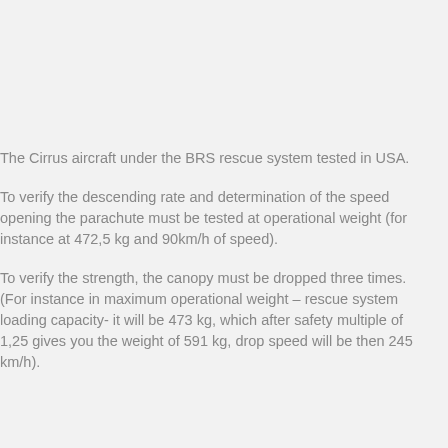The Cirrus aircraft under the BRS rescue system tested in USA.
To verify the descending rate and determination of the speed opening the parachute must be tested at operational weight (for instance at 472,5 kg and 90km/h of speed).
To verify the strength, the canopy must be dropped three times. (For instance in maximum operational weight – rescue system loading capacity- it will be 473 kg, which after safety multiple of 1,25 gives you the weight of 591 kg, drop speed will be then 245 km/h).